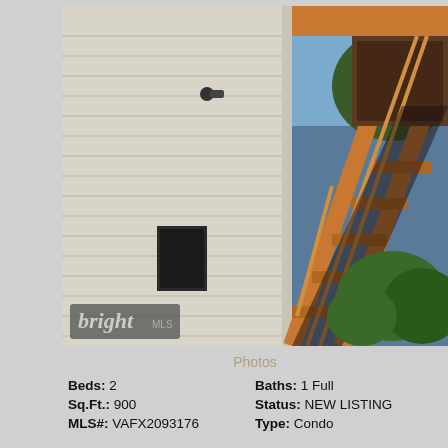[Figure (photo): Exterior photo of a residential condo building showing white vinyl siding, a wooden staircase/deck with railing leading up to the second floor, a security camera on the wall, an electrical panel box, and green shrubbery at the right. The bright MLS watermark logo appears in the lower left corner of the photo.]
Photos
Beds: 2
Baths: 1 Full
Sq.Ft.: 900
Status: NEW LISTING
MLS#: VAFX2093176
Type: Condo